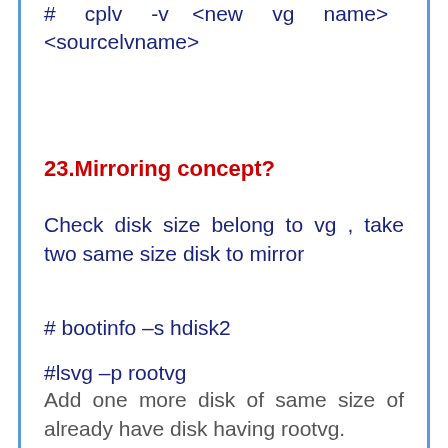# cplv -v <new vg name> <sourcelvname>
23.Mirroring concept?
Check disk size belong to vg , take two same size disk to mirror
# bootinfo –s hdisk2
#lsvg –p rootvg
Add one more disk of same size of already have disk having rootvg.
# extendvg rootvg hdisk2
# lsvg –p rootvg